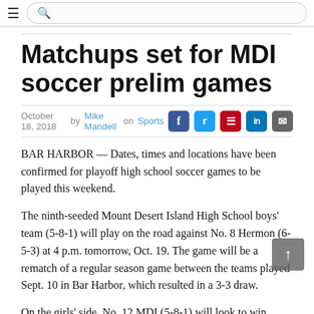≡  🔍
Matchups set for MDI soccer prelim games
October 18, 2018  by Mike Mandell  on Sports
BAR HARBOR — Dates, times and locations have been confirmed for playoff high school soccer games to be played this weekend.
The ninth-seeded Mount Desert Island High School boys' team (5-8-1) will play on the road against No. 8 Hermon (6-5-3) at 4 p.m. tomorrow, Oct. 19. The game will be a rematch of a regular season game between the teams played Sept. 10 in Bar Harbor, which resulted in a 3-3 draw.
On the girls' side, No. 12 MDI (5-8-1) will look to win